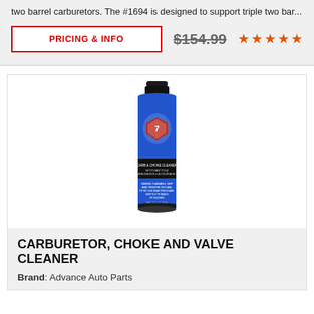two barrel carburetors. The #1694 is designed to support triple two bar...
PRICING & INFO
$154.99 ★★★★★
[Figure (photo): Blue aerosol spray can of Carburetor, Choke and Valve Cleaner with black cap and label]
CARBURETOR, CHOKE AND VALVE CLEANER
Brand: Advance Auto Parts